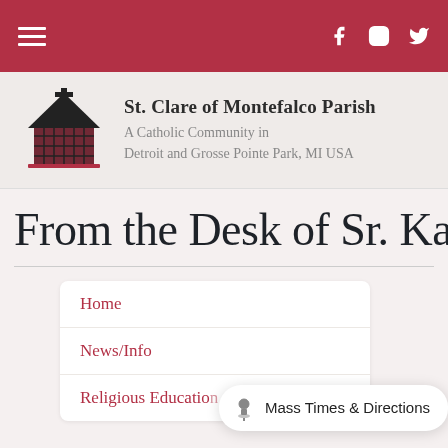Navigation bar with hamburger menu and social icons (Facebook, Instagram, Twitter)
St. Clare of Montefalco Parish
A Catholic Community in Detroit and Grosse Pointe Park, MI USA
From the Desk of Sr. Kath
Home
News/Info
Religious Education
Mass Times & Directions